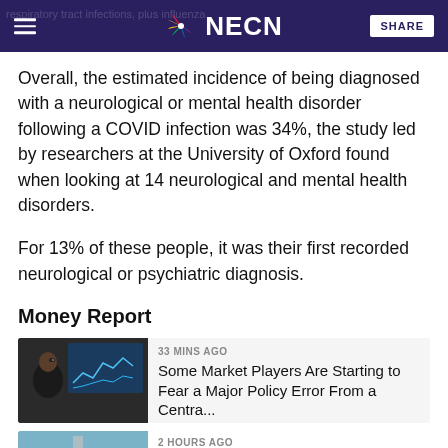respiratory tract infections, plus influenza — NECN — SHARE
Overall, the estimated incidence of being diagnosed with a neurological or mental health disorder following a COVID infection was 34%, the study led by researchers at the University of Oxford found when looking at 14 neurological and mental health disorders.
For 13% of these people, it was their first recorded neurological or psychiatric diagnosis.
Money Report
[Figure (photo): Photo of a man looking upward in a dark room with financial chart screens in background]
33 MINS AGO
Some Market Players Are Starting to Fear a Major Policy Error From a Centra...
2 HOURS AGO